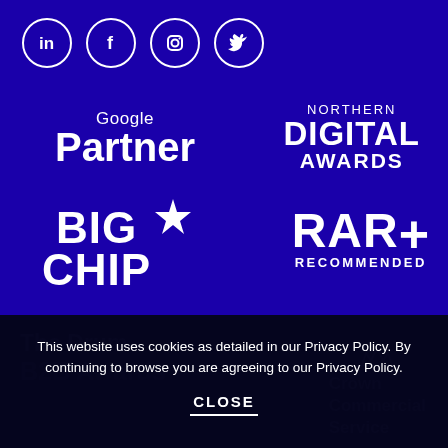[Figure (logo): LinkedIn, Facebook, Instagram, Twitter social media icons in white circles on dark blue background]
[Figure (logo): Google Partner logo in white on dark blue background]
[Figure (logo): Northern Digital Awards logo in white on dark blue background]
[Figure (logo): Big Chip logo with star in white on dark blue background]
[Figure (logo): RAR+ Recommended logo in white on dark blue background]
[Figure (logo): The Drum B2B Awards logo (faded) on dark background]
[Figure (logo): Crown Commercial Service logo (faded) on dark background]
This website uses cookies as detailed in our Privacy Policy. By continuing to browse you are agreeing to our Privacy Policy.
CLOSE